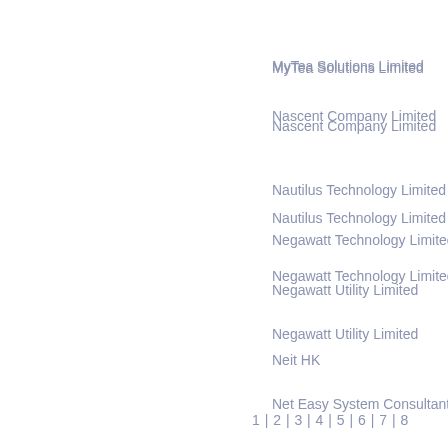MyTea Solutions Limited
Nascent Company Limited
Nautilus Technology Limited
Negawatt Technology Limited
Negawatt Utility Limited
Neit HK
Net Easy System Consultant
New Digital World Limited
1 | 2 | 3 | 4 | 5 | 6 | 7 | 8